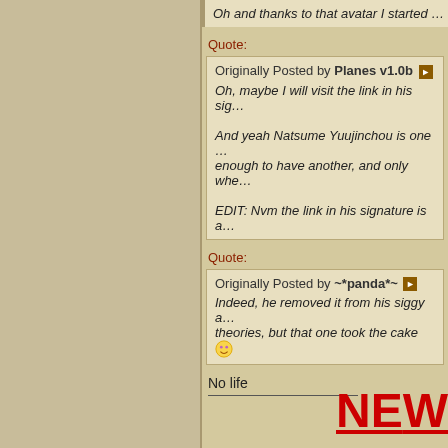Oh and thanks to that avatar I started …
Quote:
Originally Posted by Planes v1.0b ▶ Oh, maybe I will visit the link in his sig… And yeah Natsume Yuujinchou is one … enough to have another, and only whe… EDIT: Nvm the link in his signature is a…
Quote:
Originally Posted by ~*panda*~ ▶ Indeed, he removed it from his siggy a… theories, but that one took the cake 😊
No life
NEW